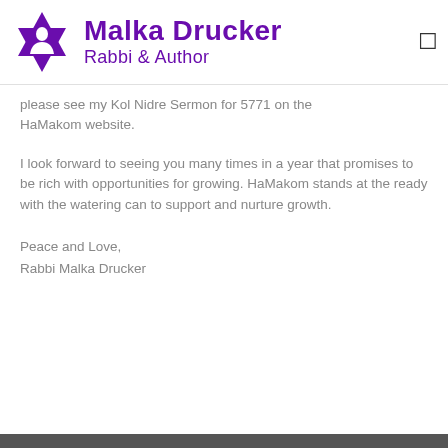[Figure (logo): Malka Drucker Rabbi & Author logo with Star of David in purple]
please see my Kol Nidre Sermon for 5771 on the HaMakom website.
I look forward to seeing you many times in a year that promises to be rich with opportunities for growing. HaMakom stands at the ready with the watering can to support and nurture growth.
Peace and Love,
Rabbi Malka Drucker